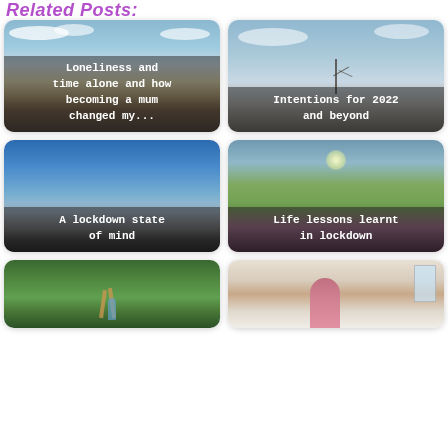Related Posts:
[Figure (photo): Coastal scene with bay and clouds, text overlay: Loneliness and time alone and how becoming a mum changed my...]
[Figure (photo): Sky with clouds and bare tree silhouette, text overlay: Intentions for 2022 and beyond]
[Figure (photo): Blue sky gradient fading to dark silhouette of bare trees, text overlay: A lockdown state of mind]
[Figure (photo): Park scene with large tree and sunlight, pink flowers, text overlay: Life lessons learnt in lockdown]
[Figure (photo): Person posing with arms raised by large outdoor wooden sculpture with trees]
[Figure (photo): Woman taking selfie in mirror wearing pink apron in a room with window and bookshelf]